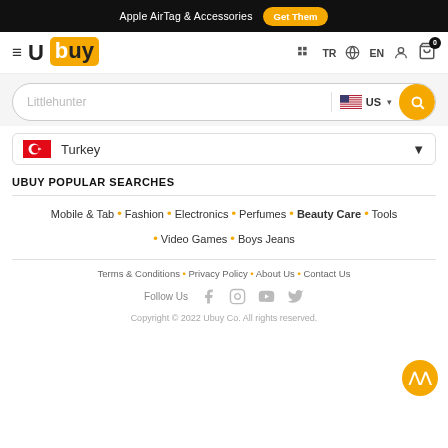Apple AirTag & Accessories  Get Them
[Figure (logo): Ubuy logo with hamburger menu, TR/EN language selectors, account icon, and cart with badge 0]
[Figure (screenshot): Search bar with placeholder text 'Littlehunter', US flag country selector, and yellow search button]
[Figure (screenshot): Country selector dropdown showing Turkey with Turkish flag]
UBUY POPULAR SEARCHES
Mobile & Tab • Fashion • Electronics • Perfumes • Beauty Care • Tools • Video Games • Boys Jeans
Terms & Conditions • Privacy Policy • About Us • Contact Us
Follow Us
Copyright © 2022 Ubuy Co. All rights reserved.